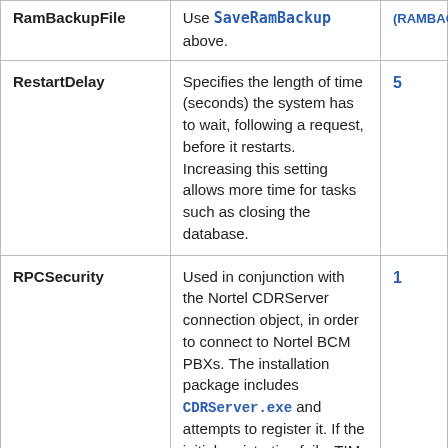| Parameter | Description | Default |
| --- | --- | --- |
| RamBackupFile | Use SaveRamBackup above. | (RAMBAC...) |
| RestartDelay | Specifies the length of time (seconds) the system has to wait, following a request, before it restarts. Increasing this setting allows more time for tasks such as closing the database. | 5 |
| RPCSecurity | Used in conjunction with the Nortel CDRServer connection object, in order to connect to Nortel BCM PBXs. The installation package includes CDRServer.exe and attempts to register it. If the initial registration fails, TIM will automatically try to initialise the component itself before using it. | 1 |